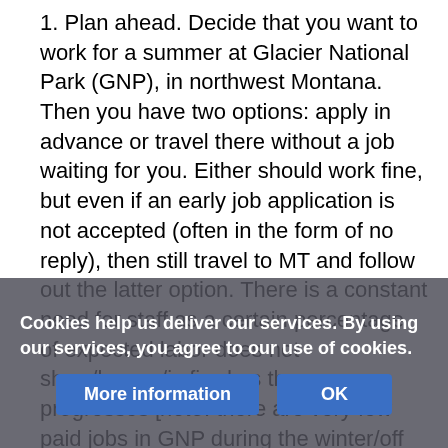1. Plan ahead. Decide that you want to work for a summer at Glacier National Park (GNP), in northwest Montana. Then you have two options: apply in advance or travel there without a job waiting for you. Either should work fine, but even if an early job application is not accepted (often in the form of no reply), then still travel to MT and follow out the latter option. There is a constant need for staff as a certain percentage of expected labor does not show/leaves/is fired as the season progresses [note: there are very few paid jobs in GNP during the winter/off season (i.e. Oct.-April), so this how-to deals with summer employment].
2. Apply. If you decide to apply early, there are several avenues to pursue. The biggest companies offer the best chance for getting a job in advance. Glacier Park, Inc. runs most of the hotels and restaurants within the park and employs large numbers. Other large employers are the St...
Cookies help us deliver our services. By using our services, you agree to our use of cookies.